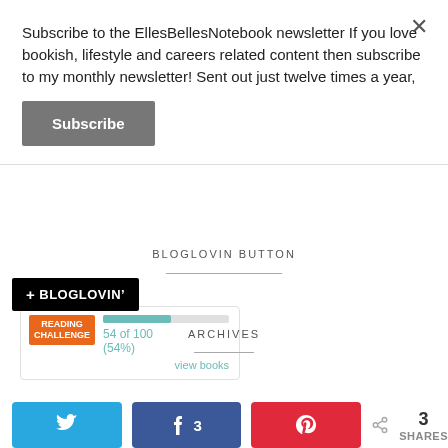Subscribe to the EllesBellesNotebook newsletter If you love bookish, lifestyle and careers related content then subscribe to my monthly newsletter! Sent out just twelve times a year,
×
Subscribe
[Figure (screenshot): Reading challenge widget showing 54 of 100 (54%) progress bar with orange READING CHALLENGE badge and teal progress bar, with view books link]
BLOGLOVIN BUTTON
[Figure (logo): + BLOGLOVIN' button, black background with white text]
ARCHIVES
[Figure (infographic): Share bar with Twitter, Facebook (3), Pinterest share buttons and total 3 SHARES count]